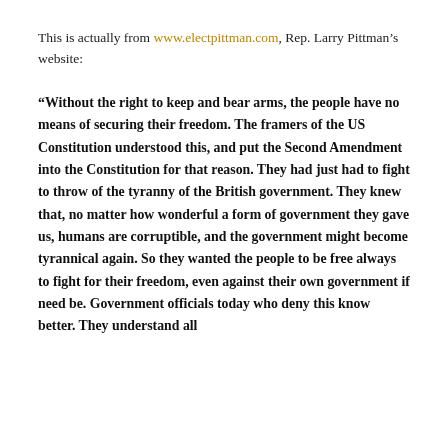This is actually from www.electpittman.com, Rep. Larry Pittman's website:
“Without the right to keep and bear arms, the people have no means of securing their freedom. The framers of the US Constitution understood this, and put the Second Amendment into the Constitution for that reason. They had just had to fight to throw of the tyranny of the British government. They knew that, no matter how wonderful a form of government they gave us, humans are corruptible, and the government might become tyrannical again. So they wanted the people to be free always to fight for their freedom, even against their own government if need be. Government officials today who deny this know better. They understand all